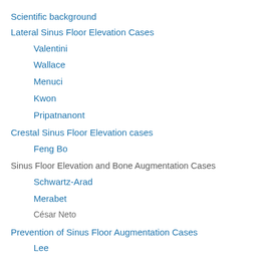Scientific background
Lateral Sinus Floor Elevation Cases
Valentini
Wallace
Menuci
Kwon
Pripatnanont
Crestal Sinus Floor Elevation cases
Feng Bo
Sinus Floor Elevation and Bone Augmentation Cases
Schwartz-Arad
Merabet
César Neto
Prevention of Sinus Floor Augmentation Cases
Lee